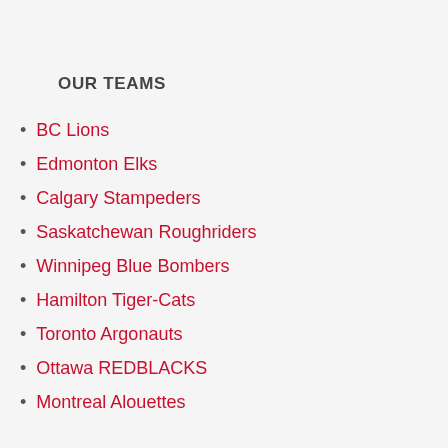OUR TEAMS
BC Lions
Edmonton Elks
Calgary Stampeders
Saskatchewan Roughriders
Winnipeg Blue Bombers
Hamilton Tiger-Cats
Toronto Argonauts
Ottawa REDBLACKS
Montreal Alouettes
ALUMNI
CFL Alumni Association